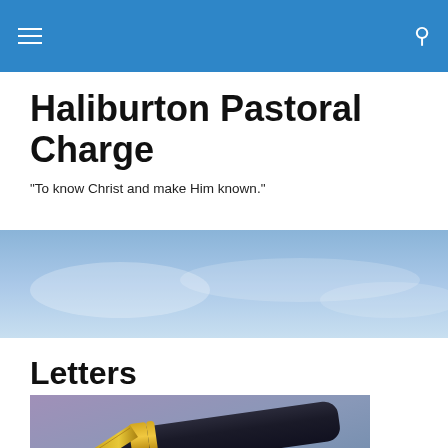Haliburton Pastoral Charge navigation bar
Haliburton Pastoral Charge
"To know Christ and make Him known."
[Figure (photo): Landscape sky banner image with light blue sky and soft clouds]
Letters
[Figure (photo): Close-up photograph of a fountain pen nib resting on a surface, black pen body with gold nib and gold ring accents, blurred purple/blue background]